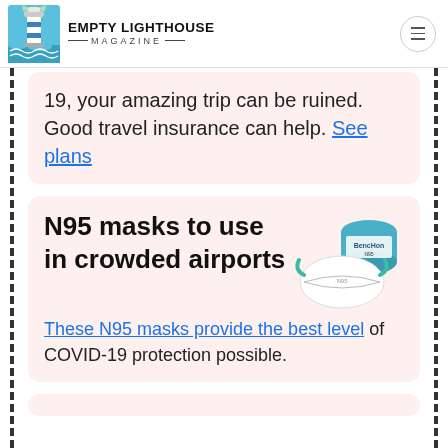Empty Lighthouse Magazine
19, your amazing trip can be ruined. Good travel insurance can help. See plans
N95 masks to use in crowded airports
These N95 masks provide the best level of COVID-19 protection possible.